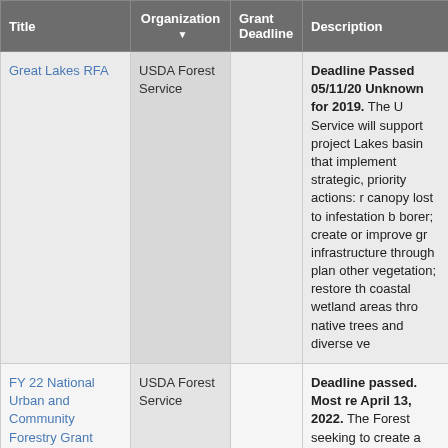| Title | Organization ▼ | Grant Deadline | Description |
| --- | --- | --- | --- |
| Great Lakes RFA | USDA Forest Service |  | Deadline Passed 05/11/20 Unknown for 2019. The U Service will support project Lakes basin that implement strategic, priority actions: r canopy lost to infestation b borer; create or improve gr infrastructure through plan other vegetation; restore th coastal wetland areas thro native trees and diverse ve |
| FY 22 National Urban and Community Forestry Grant Program | USDA Forest Service |  | Deadline passed. Most re April 13, 2022. The Forest seeking to create a nationa messaging for the Urban a Forestry Program that rais the critical and urgent nee and manage our urban fore all. Learn more and apply h |
|  |  |  | The Forest... |